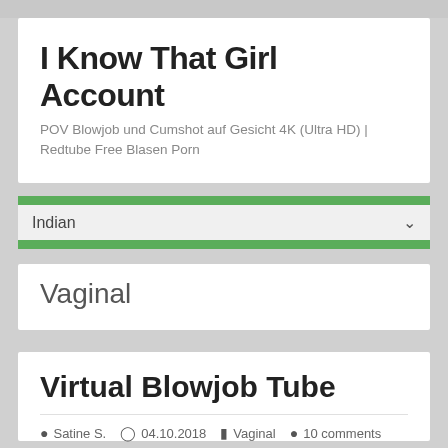I Know That Girl Account
POV Blowjob und Cumshot auf Gesicht 4K (Ultra HD) | Redtube Free Blasen Porn
Indian
Vaginal
Virtual Blowjob Tube
Satine S.   04.10.2018   Vaginal   10 comments